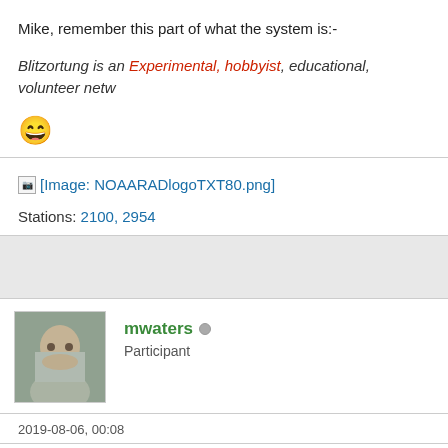Mike, remember this part of what the system is:-
Blitzortung is an Experimental, hobbyist, educational, volunteer netwo
[Figure (illustration): Smiley face emoji]
[Figure (other): [Image: NOAARADlogoTXT80.png]]
Stations: 2100, 2954
mwaters — Participant
2019-08-06, 00:08
Respectfully, I fully understand this. Why did you say this? I just thou this. :-)